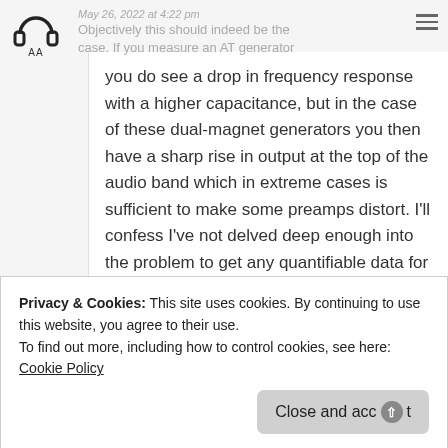May 26, 2022 at 4:22 pm
Objectively this should indeed be the case. If you measure an AT generator
you do see a drop in frequency response with a higher capacitance, but in the case of these dual-magnet generators you then have a sharp rise in output at the top of the audio band which in extreme cases is sufficient to make some preamps distort. I'll confess I've not delved deep enough into the problem to get any quantifiable data for this, but I've tested multiple examples of every
Privacy & Cookies: This site uses cookies. By continuing to use this website, you agree to their use.
To find out more, including how to control cookies, see here:
Cookie Policy
Close and accept